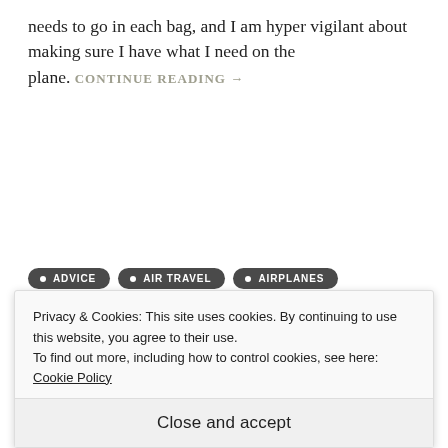needs to go in each bag, and I am hyper vigilant about making sure I have what I need on the plane. CONTINUE READING →
• ADVICE
• AIR TRAVEL
• AIRPLANES
• COMFORT
• ORGANIZATION
• TRAVEL
• TRIP BITS
• TRIP PLANNING
Privacy & Cookies: This site uses cookies. By continuing to use this website, you agree to their use. To find out more, including how to control cookies, see here: Cookie Policy
Close and accept